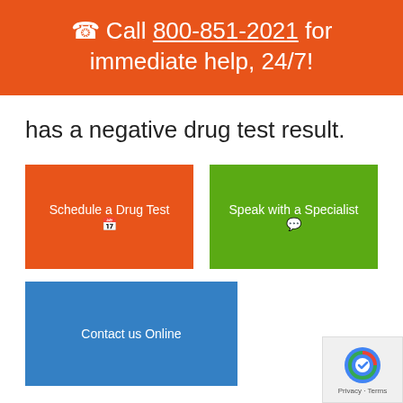☎ Call 800-851-2021 for immediate help, 24/7!
has a negative drug test result.
[Figure (screenshot): Three call-to-action buttons: orange 'Schedule a Drug Test', green 'Speak with a Specialist', blue 'Contact us Online']
Drug testing methods
We can perform drug tests through Livingston using a variety of different